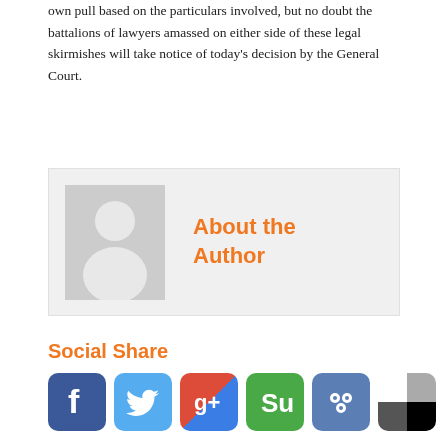own pull based on the particulars involved, but no doubt the battalions of lawyers amassed on either side of these legal skirmishes will take notice of today's decision by the General Court.
[Figure (illustration): Author bio box with a generic grey person silhouette avatar placeholder image on the left and orange bold text 'About the Author' on the right, on a light grey background]
Social Share
[Figure (infographic): Row of social media icon buttons: Facebook (blue), Twitter (blue), Google+ (red/orange/blue), StumbleUpon (green), FriendFeed (blue), and a Windows Metro-style checkerboard icon below]